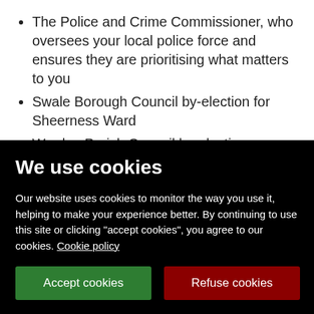The Police and Crime Commissioner, who oversees your local police force and ensures they are prioritising what matters to you
Swale Borough Council by-election for Sheerness Ward
Warden Parish Council by-election
Faversham Town Council by-elections for
We use cookies
Our website uses cookies to monitor the way you use it, helping to make your experience better. By continuing to use this site or clicking "accept cookies", you agree to our cookies. Cookie policy